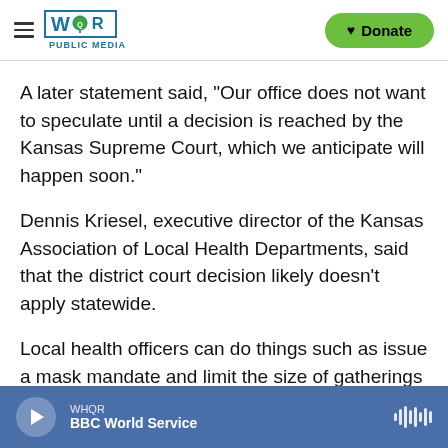WHQR PUBLIC MEDIA | Donate
A later statement said, "Our office does not want to speculate until a decision is reached by the Kansas Supreme Court, which we anticipate will happen soon."
Dennis Kriesel, executive director of the Kansas Association of Local Health Departments, said that the district court decision likely doesn't apply statewide.
Local health officers can do things such as issue a mask mandate and limit the size of gatherings with
WHQR | BBC World Service